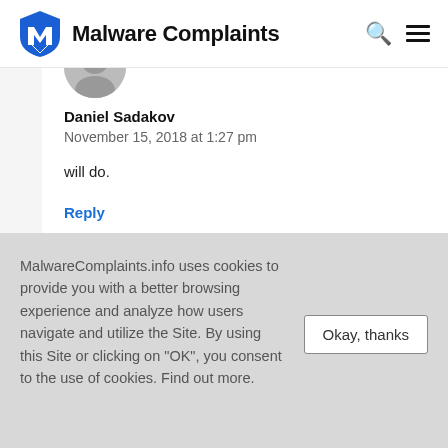Malware Complaints
Daniel Sadakov
November 15, 2018 at 1:27 pm
will do.
Reply
MalwareComplaints.info uses cookies to provide you with a better browsing experience and analyze how users navigate and utilize the Site. By using this Site or clicking on "OK", you consent to the use of cookies. Find out more.